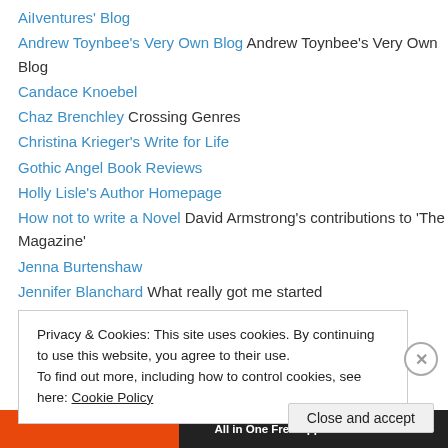AiIventures' Blog
Andrew Toynbee's Very Own Blog Andrew Toynbee's Very Own Blog
Candace Knoebel
Chaz Brenchley Crossing Genres
Christina Krieger's Write for Life
Gothic Angel Book Reviews
Holly Lisle's Author Homepage
How not to write a Novel David Armstrong's contributions to 'The Magazine'
Jenna Burtenshaw
Jennifer Blanchard What really got me started
Jim C Hines interviews – authors' First Books
Kimberly's Writings – one writer to another
Lillie McFerrin
Privacy & Cookies: This site uses cookies. By continuing to use this website, you agree to their use. To find out more, including how to control cookies, see here: Cookie Policy
Close and accept